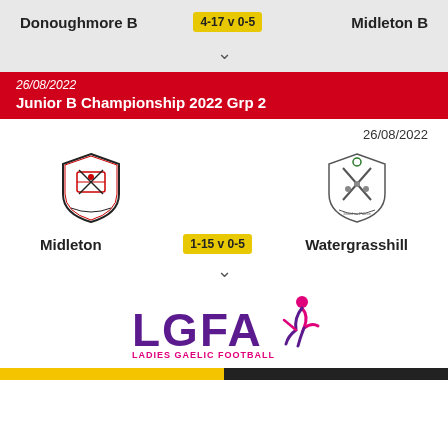Donoughmore B   4-17 v 0-5   Midleton B
26/08/2022
Junior B Championship 2022 Grp 2
26/08/2022
[Figure (logo): Midleton GAA club crest - shield shape with red and white design]
[Figure (logo): Watergrasshill GAA club crest - shield shape with crossed hurls]
Midleton   1-15 v 0-5   Watergrasshill
[Figure (logo): LGFA Ladies Gaelic Football logo in purple and pink]